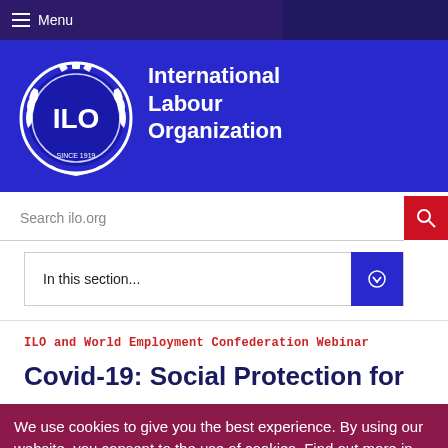Menu
[Figure (logo): ILO - International Labour Organization logo with circular emblem and text]
Search ilo.org
In this section...
ILO and World Employment Confederation Webinar
Covid-19: Social Protection for
We use cookies to give you the best experience. By using our website, you consent to the use of cookies. Find out more in our privacy policy. OK, I understand